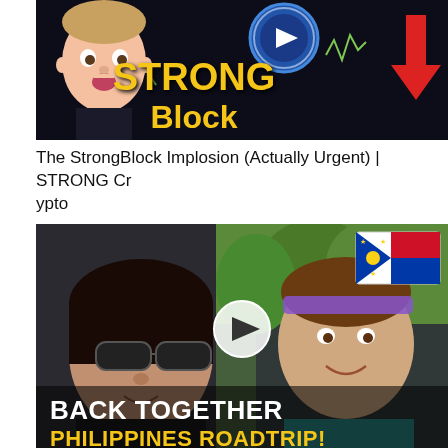[Figure (screenshot): YouTube video thumbnail for 'The StrongBlock Implosion (Actually Urgent) | STRONG Crypto' showing a surprised man, StrongBlock logo, yellow STRONG Block text, red downward arrow on dark background]
The StrongBlock Implosion (Actually Urgent) | STRONG Crypto
[Figure (screenshot): YouTube video thumbnail showing two people in a car, woman with sunglasses on left, man with headband on right, Philippine flag top right, play button overlay, text 'BACK TOGETHER PHILIPPINES ROADTRIP!']